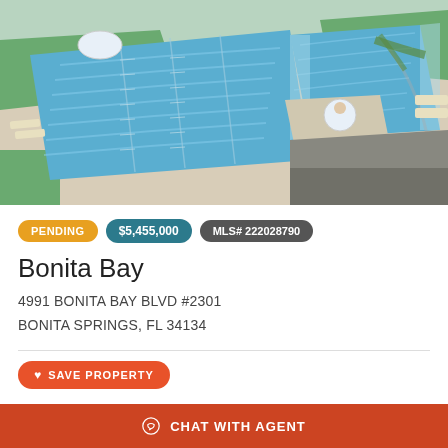[Figure (illustration): Aerial/overhead 3D rendering of a luxury residential pool area with blue swimming pools, lounge chairs, palm trees, and surrounding green landscaping.]
PENDING | $5,455,000 | MLS# 222028790
Bonita Bay
4991 BONITA BAY BLVD #2301
BONITA SPRINGS, FL 34134
♥ SAVE PROPERTY
From Seaglass' renowned developer, The Ronto Group, comes another residential wonder in a class all of its own: Omega at Bonita Bay. Omega's residence luxury. Floor to ceiling windows
CHAT WITH AGENT